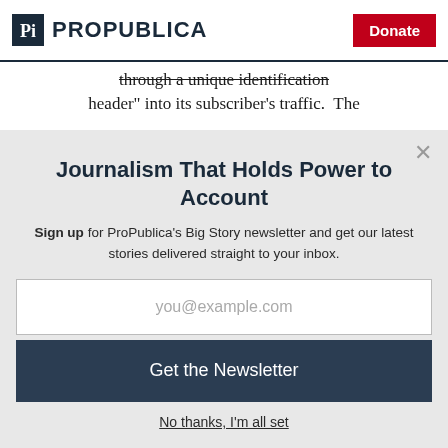ProPublica | Donate
header" into its subscriber's traffic.  The
Journalism That Holds Power to Account
Sign up for ProPublica's Big Story newsletter and get our latest stories delivered straight to your inbox.
you@example.com
Get the Newsletter
No thanks, I'm all set
This site is protected by reCAPTCHA and the Google Privacy Policy and Terms of Service apply.